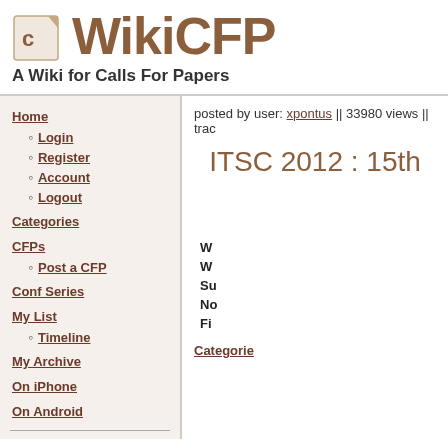WikiCFP — A Wiki for Calls For Papers
posted by user: xpontus || 33980 views || trac
ITSC 2012 : 15th
Home
Login
Register
Account
Logout
Categories
CFPs
Post a CFP
Conf Series
My List
Timeline
My Archive
On iPhone
On Android
| Field | Value |
| --- | --- |
| W |  |
| W |  |
| Su |  |
| No |  |
| Fi |  |
Categories